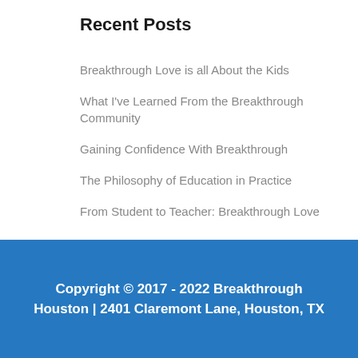Recent Posts
Breakthrough Love is all About the Kids
What I've Learned From the Breakthrough Community
Gaining Confidence With Breakthrough
The Philosophy of Education in Practice
From Student to Teacher: Breakthrough Love
Copyright © 2017 - 2022 Breakthrough Houston | 2401 Claremont Lane, Houston, TX